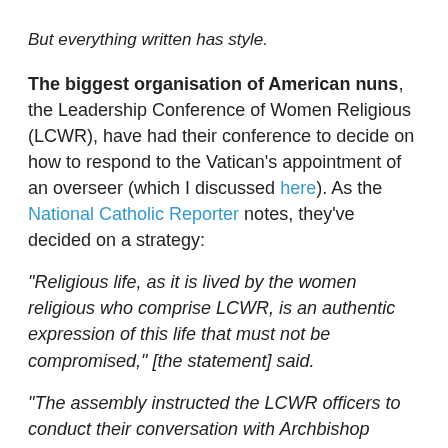But everything written has style.
The biggest organisation of American nuns, the Leadership Conference of Women Religious (LCWR), have had their conference to decide on how to respond to the Vatican's appointment of an overseer (which I discussed here). As the National Catholic Reporter notes, they've decided on a strategy:
“Religious life, as it is lived by the women religious who comprise LCWR, is an authentic expression of this life that must not be compromised,” [the statement] said.
“The assembly instructed the LCWR officers to conduct their conversation with Archbishop Sartain from a stance of deep prayer that values mutual respect, careful listening and open dialogue,” the statement said. “The officers will